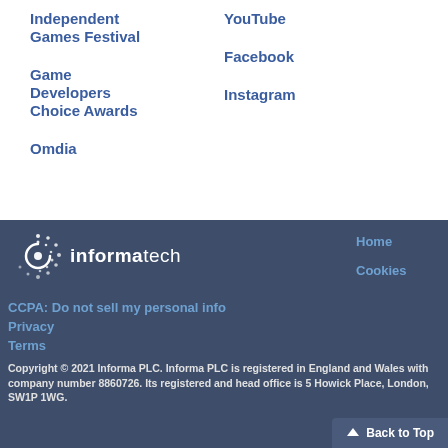Independent Games Festival
YouTube
Facebook
Game Developers Choice Awards
Instagram
Omdia
[Figure (logo): Informa Tech logo with circular dot motif and wordmark]
Home
Cookies
CCPA: Do not sell my personal info
Privacy
Terms
Copyright © 2021 Informa PLC. Informa PLC is registered in England and Wales with company number 8860726. Its registered and head office is 5 Howick Place, London, SW1P 1WG.